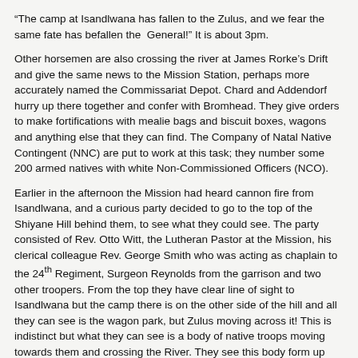“The camp at Isandlwana has fallen to the Zulus, and we fear the same fate has befallen the  General!” It is about 3pm.
Other horsemen are also crossing the river at James Rorke’s Drift and give the same news to the Mission Station, perhaps more accurately named the Commissariat Depot.  Chard and Addendorf hurry up there together and confer with Bromhead.  They give orders to make fortifications with mealie bags and biscuit boxes, wagons and anything else that they can find.  The Company of Natal Native Contingent (NNC) are put to work at this task; they number some 200 armed natives with white Non-Commissioned Officers (NCO).
Earlier in the afternoon the Mission had heard cannon fire from Isandlwana, and a curious party decided to go to the top of the Shiyane Hill behind them, to see what they could see.  The party consisted of Rev. Otto Witt, the Lutheran Pastor at the Mission, his clerical colleague Rev. George Smith who was acting as chaplain to the 24th Regiment, Surgeon Reynolds from the garrison and two other troopers.  From the top they have clear line of sight to Isandlwana but the camp there is on the other side of the hill and all they can see is the wagon park, but Zulus moving across it!  This is indistinct but what they can see is a body of native troops moving towards them and crossing the River.  They see this body form up and advance to their right on the East side of their vantage point.  It is only when they can see that the leading horsemen of the body have black faces that they realise that this is a Zulu formation heading for the Mission and not their own British troops.